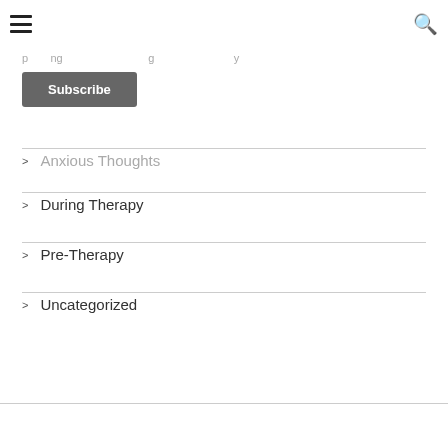☰ [menu icon] ... [search icon]
...partial text (truncated/partially visible)
Subscribe
Anxious Thoughts
During Therapy
Pre-Therapy
Uncategorized